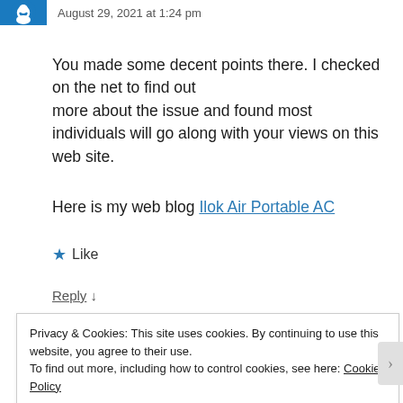August 29, 2021 at 1:24 pm
You made some decent points there. I checked on the net to find out more about the issue and found most individuals will go along with your views on this web site.
Here is my web blog Ilok Air Portable AC
★ Like
Reply ↓
Privacy & Cookies: This site uses cookies. By continuing to use this website, you agree to their use.
To find out more, including how to control cookies, see here: Cookie Policy
Close and accept